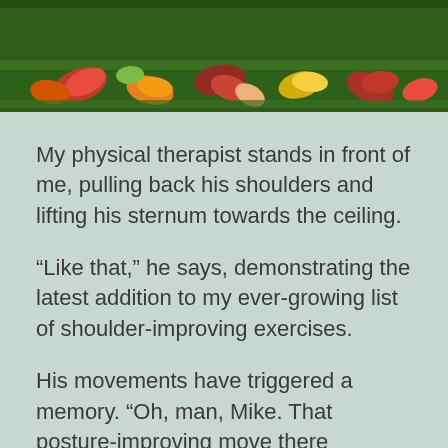[Figure (photo): Autumn leaves (red, orange, yellow) scattered on green grass, viewed from above, spanning the top of the page.]
My physical therapist stands in front of me, pulling back his shoulders and lifting his sternum towards the ceiling.
“Like that,” he says, demonstrating the latest addition to my ever-growing list of shoulder-improving exercises.
His movements have triggered a memory. “Oh, man, Mike. That posture-improving move there